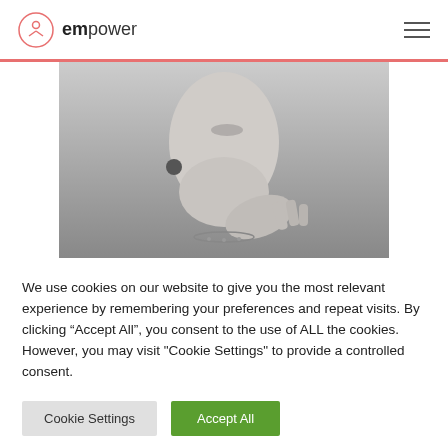empower
[Figure (photo): Black and white close-up photo of a woman touching her neck/chin area]
We use cookies on our website to give you the most relevant experience by remembering your preferences and repeat visits. By clicking “Accept All”, you consent to the use of ALL the cookies. However, you may visit "Cookie Settings" to provide a controlled consent.
Cookie Settings  Accept All